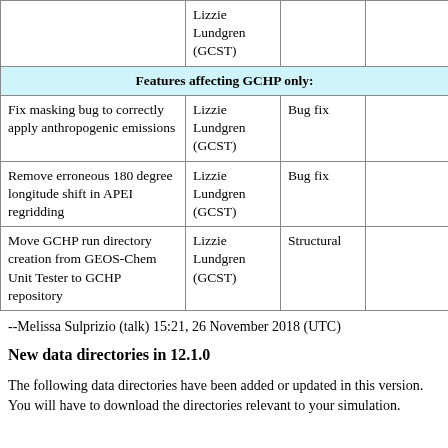|  | Lizzie Lundgren (GCST) |  |  |
| --- | --- | --- | --- |
| Features affecting GCHP only: |  |  |  |
| Fix masking bug to correctly apply anthropogenic emissions | Lizzie Lundgren (GCST) | Bug fix |  |
| Remove erroneous 180 degree longitude shift in APEI regridding | Lizzie Lundgren (GCST) | Bug fix |  |
| Move GCHP run directory creation from GEOS-Chem Unit Tester to GCHP repository | Lizzie Lundgren (GCST) | Structural |  |
--Melissa Sulprizio (talk) 15:21, 26 November 2018 (UTC)
New data directories in 12.1.0
The following data directories have been added or updated in this version. You will have to download the directories relevant to your simulation.